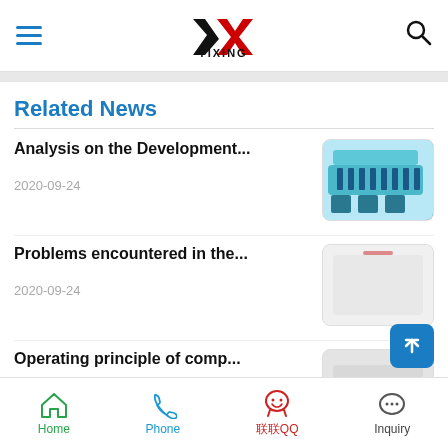YIXING
Related News
Analysis on the Development...
2020-09-24
[Figure (photo): Industrial sewing/quilting machine in teal color]
Problems encountered in the...
2020-09-24
[Figure (photo): White/light grey product image]
Operating principle of comp...
[Figure (photo): Grey placeholder image]
Home  Phone  联联QQ  Inquiry